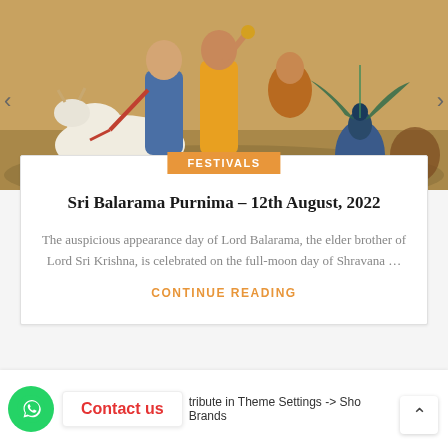[Figure (illustration): Colorful religious painting depicting Lord Balarama and Lord Sri Krishna with a cow and peacock in a pastoral scene]
FESTIVALS
Sri Balarama Purnima – 12th August, 2022
The auspicious appearance day of Lord Balarama, the elder brother of Lord Sri Krishna, is celebrated on the full-moon day of Shravana …
CONTINUE READING
Contact us
tribute in Theme Settings -> Sho Brands